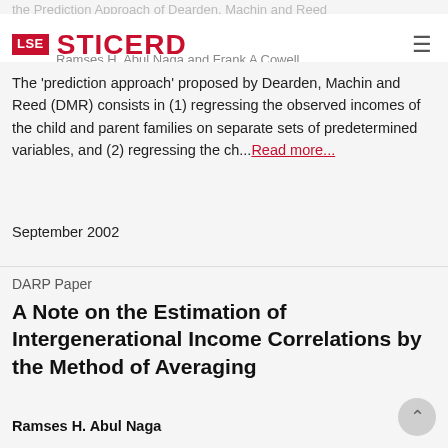LSE STICERD
Ramses H. Abul Naga and Frank A Cowell
The 'prediction approach' proposed by Dearden, Machin and Reed (DMR) consists in (1) regressing the observed incomes of the child and parent families on separate sets of predetermined variables, and (2) regressing the ch... Read more...
September 2002
DARP Paper
A Note on the Estimation of Intergenerational Income Correlations by the Method of Averaging
Ramses H. Abul Naga
Averaging methods are routinely used in order to limit biases resulting from the mismeasurement of permanent incomes. The Solon/Zimmerman estimator regresses a